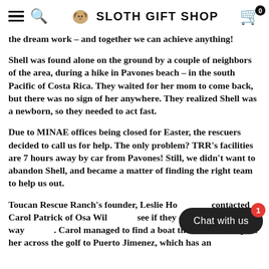Sloth Gift Shop
the dream work – and together we can achieve anything!
Shell was found alone on the ground by a couple of neighbors of the area, during a hike in Pavones beach – in the south Pacific of Costa Rica. They waited for her mom to come back, but there was no sign of her anywhere. They realized Shell was a newborn, so they needed to act fast.
Due to MINAE offices being closed for Easter, the rescuers decided to call us for help. The only problem? TRR's facilities are 7 hours away by car from Pavones! Still, we didn't want to abandon Shell, and became a matter of finding the right team to help us out.
Toucan Rescue Ranch's founder, Leslie Holzmann, contacted Carol Patrick of Osa Wildlife to see if they could help us find a way to save the sloth. Carol managed to find a boat that could transport her across the golf to Puerto Jimenez, which has an